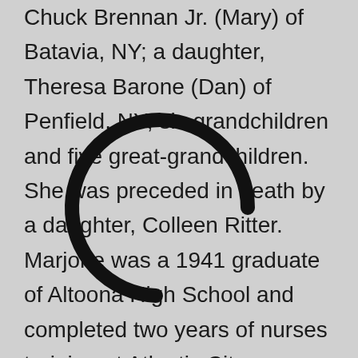Chuck Brennan Jr. (Mary) of Batavia, NY; a daughter, Theresa Barone (Dan) of Penfield, NY; six grandchildren and five great-grandchildren. She was preceded in death by a daughter, Colleen Ritter. Marjorie was a 1941 graduate of Altoona High School and completed two years of nurses training at Atlantic City
[Figure (other): A large circular arc/omega symbol overlaid on the text, partially obscuring words 'Colleen Ritter' and '1941 graduate']